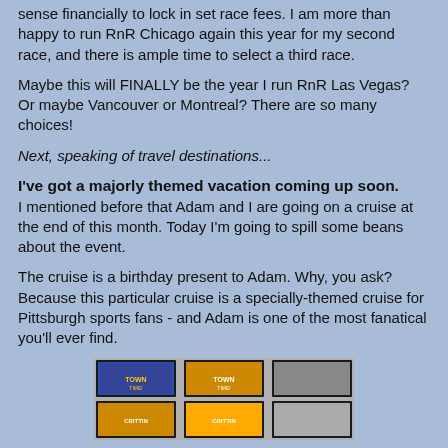sense financially to lock in set race fees. I am more than happy to run RnR Chicago again this year for my second race, and there is ample time to select a third race.
Maybe this will FINALLY be the year I run RnR Las Vegas? Or maybe Vancouver or Montreal? There are so many choices!
Next, speaking of travel destinations...
I've got a majorly themed vacation coming up soon. I mentioned before that Adam and I are going on a cruise at the end of this month. Today I'm going to spill some beans about the event.
The cruise is a birthday present to Adam. Why, you ask? Because this particular cruise is a specially-themed cruise for Pittsburgh sports fans - and Adam is one of the most fanatical you'll ever find.
[Figure (photo): A collage of framed Pittsburgh sports themed images with yellow and black colors, showing what appears to be team merchandise or memorabilia displays.]